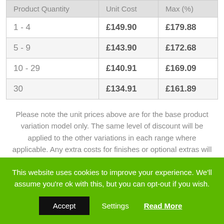| Product Quantity | Unit Cost | Max (%) |
| --- | --- | --- |
| 1 - 4 | £149.90 | £179.88 |
| 5 - 9 | £143.90 | £172.68 |
| 10 - 29 | £140.91 | £169.09 |
| 30 | £134.91 | £161.89 |
Please note the unit prices above are for the base product variation model only. The same level of discount will be applied to the other variations in each range where applicable. Any extra costs for finishes or optional extras will be added to the base unit costs. This will be shown at the bottom of the page with the final totals calculated in your basket.
This website uses cookies to improve your experience. We'll assume you're ok with this, but you can opt-out if you wish.